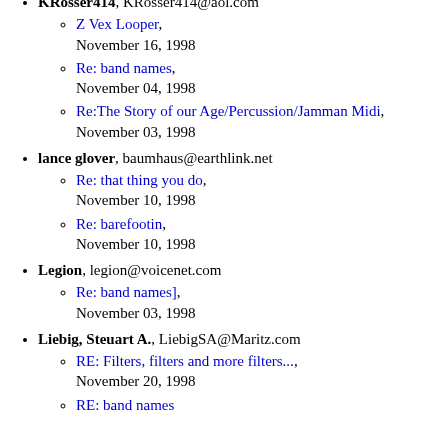KRosser414, KRosser414@aol.com
Z Vex Looper, November 16, 1998
Re: band names, November 04, 1998
Re:The Story of our Age/Percussion/Jamman Midi, November 03, 1998
lance glover, baumhaus@earthlink.net
Re: that thing you do, November 10, 1998
Re: barefootin, November 10, 1998
Legion, legion@voicenet.com
Re: band names], November 03, 1998
Liebig, Steuart A., LiebigSA@Maritz.com
RE: Filters, filters and more filters..., November 20, 1998
RE: band names